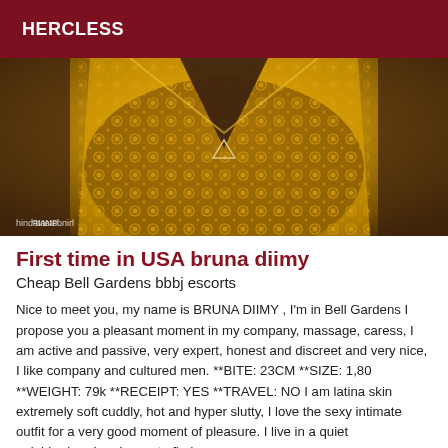HERCLESS
[Figure (photo): Photo of a person wearing a yellow lace crop top, cropped torso view, with watermark text 'hindataNP' in bottom left]
First time in USA bruna diimy
Cheap Bell Gardens bbbj escorts
Nice to meet you, my name is BRUNA DIIMY , I'm in Bell Gardens I propose you a pleasant moment in my company, massage, caress, I am active and passive, very expert, honest and discreet and very nice, I like company and cultured men. **BITE: 23CM **SIZE: 1,80 **WEIGHT: 79k **RECEIPT: YES **TRAVEL: NO I am latina skin extremely soft cuddly, hot and hyper slutty, I love the sexy intimate outfit for a very good moment of pleasure. I live in a quiet neighborhood and easy to find